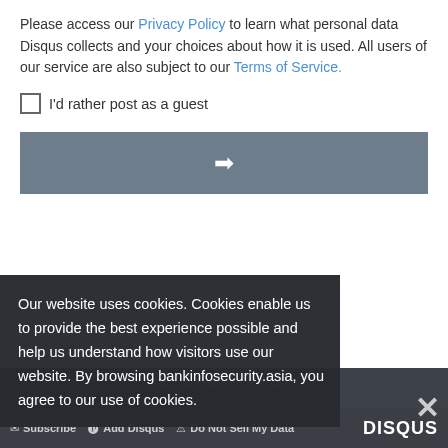Please access our Privacy Policy to learn what personal data Disqus collects and your choices about how it is used. All users of our service are also subject to our Terms of Service.
I'd rather post as a guest
[Figure (other): Gray arrow button pointing right]
Be the first to comment.
Subscribe  Add Disqus  Do Not Sell My Data  DISQUS
GET DAI...
Covering t...nent, compliance, fraud, and informatio...
Our website uses cookies. Cookies enable us to provide the best experience possible and help us understand how visitors use our website. By browsing bankinfosecurity.asia, you agree to our use of cookies.
×